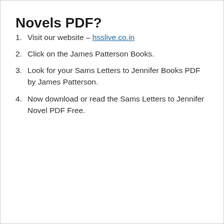Novels PDF?
Visit our website – hsslive.co.in
Click on the James Patterson Books.
Look for your Sams Letters to Jennifer Books PDF by James Patterson.
Now download or read the Sams Letters to Jennifer Novel PDF Free.